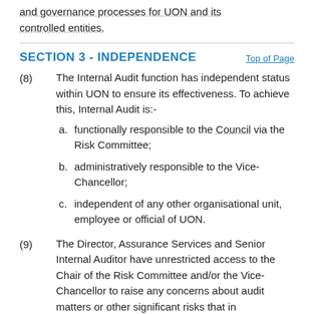and governance processes for UON and its controlled entities.
SECTION 3 - INDEPENDENCE
Top of Page
(8) The Internal Audit function has independent status within UON to ensure its effectiveness. To achieve this, Internal Audit is:-
a. functionally responsible to the Council via the Risk Committee;
b. administratively responsible to the Vice-Chancellor;
c. independent of any other organisational unit, employee or official of UON.
(9) The Director, Assurance Services and Senior Internal Auditor have unrestricted access to the Chair of the Risk Committee and/or the Vice-Chancellor to raise any concerns about audit matters or other significant risks that in